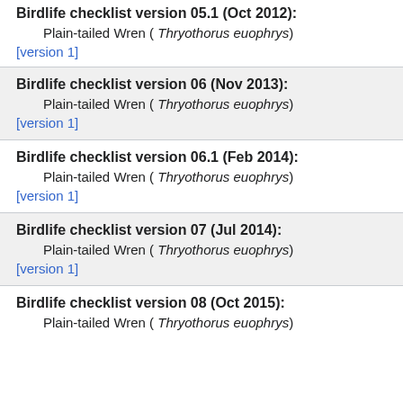Birdlife checklist version 05.1 (Oct 2012):
Plain-tailed Wren ( Thryothorus euophrys)
[version 1]
Birdlife checklist version 06 (Nov 2013):
Plain-tailed Wren ( Thryothorus euophrys)
[version 1]
Birdlife checklist version 06.1 (Feb 2014):
Plain-tailed Wren ( Thryothorus euophrys)
[version 1]
Birdlife checklist version 07 (Jul 2014):
Plain-tailed Wren ( Thryothorus euophrys)
[version 1]
Birdlife checklist version 08 (Oct 2015):
Plain-tailed Wren ( Thryothorus euophrys)